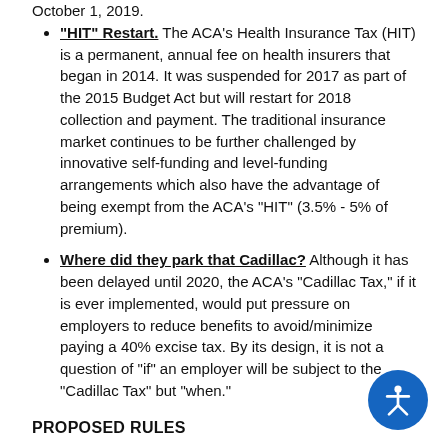October 1, 2019.
"HIT" Restart. The ACA's Health Insurance Tax (HIT) is a permanent, annual fee on health insurers that began in 2014. It was suspended for 2017 as part of the 2015 Budget Act but will restart for 2018 collection and payment. The traditional insurance market continues to be further challenged by innovative self-funding and level-funding arrangements which also have the advantage of being exempt from the ACA's "HIT" (3.5% - 5% of premium).
Where did they park that Cadillac? Although it has been delayed until 2020, the ACA's "Cadillac Tax," if it is ever implemented, would put pressure on employers to reduce benefits to avoid/minimize paying a 40% excise tax. By its design, it is not a question of "if" an employer will be subject to the "Cadillac Tax" but "when."
PROPOSED RULES
Simplified...almost. On October 6, 2017, the DOL, and the IRS issued two interim final rules expanding certain exemptions from the ACA's contraceptive